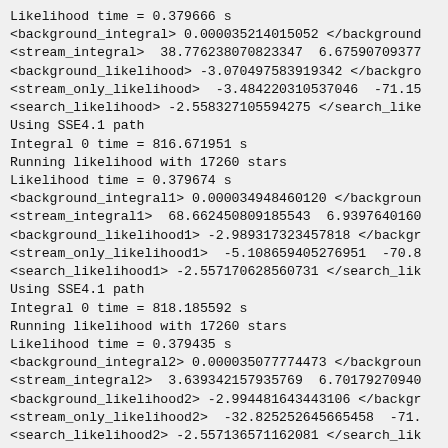Likelihood time = 0.379666 s
<background_integral> 0.000035214015052 </background
<stream_integral>  38.776238070823347  6.67590709377
<background_likelihood> -3.070497583919342 </backgro
<stream_only_likelihood>  -3.484220310537046  -71.15
<search_likelihood> -2.558327105594275 </search_like
Using SSE4.1 path
Integral 0 time = 816.671951 s
Running likelihood with 17260 stars
Likelihood time = 0.379674 s
<background_integral1> 0.000034948460120 </backgroun
<stream_integral1>  68.662450809185543  6.9397640160
<background_likelihood1> -2.989317323457818 </backgr
<stream_only_likelihood1>  -5.108659405276951  -70.8
<search_likelihood1> -2.557170628560731 </search_lik
Using SSE4.1 path
Integral 0 time = 818.185592 s
Running likelihood with 17260 stars
Likelihood time = 0.379435 s
<background_integral2> 0.000035077774473 </backgroun
<stream_integral2>  3.639342157935769  6.70179270940
<background_likelihood2> -2.994481643443106 </backgr
<stream_only_likelihood2>  -32.825252645665458  -71.
<search_likelihood2> -2.557136571162081 </search_lik